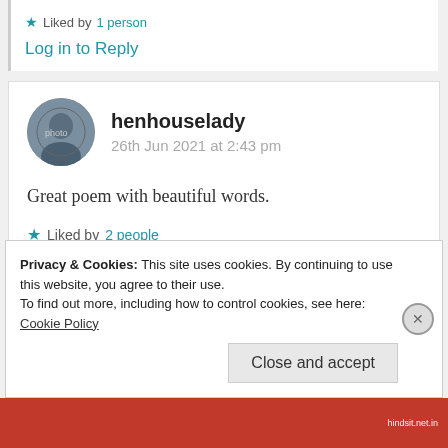★ Liked by 1 person
Log in to Reply
henhouselady
26th Jun 2021 at 2:43 pm
Great poem with beautiful words.
★ Liked by 2 people
Log in to Reply
Privacy & Cookies: This site uses cookies. By continuing to use this website, you agree to their use.
To find out more, including how to control cookies, see here: Cookie Policy
Close and accept